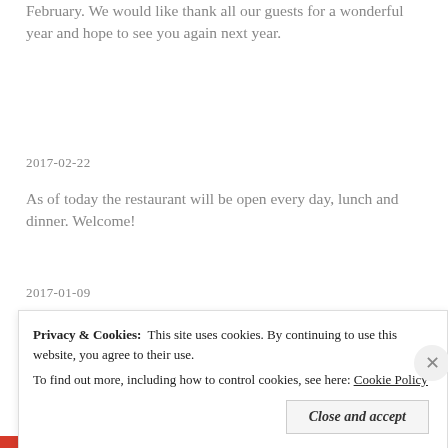February. We would like thank all our guests for a wonderful year and hope to see you again next year.
2017-02-22
As of today the restaurant will be open every day, lunch and dinner. Welcome!
2017-01-09
Privacy & Cookies:  This site uses cookies. By continuing to use this website, you agree to their use.
To find out more, including how to control cookies, see here: Cookie Policy
Close and accept